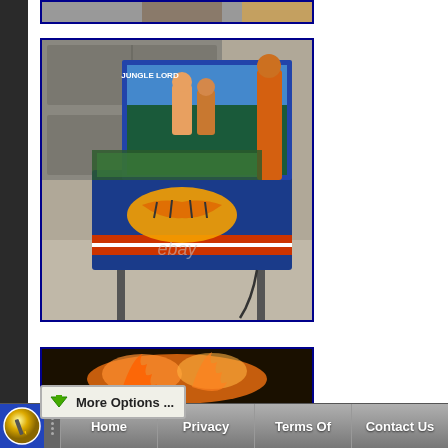[Figure (photo): Partial top of a pinball machine photo, cropped at top of page]
[Figure (photo): Jungle Lord pinball machine photographed in a garage. Blue cabinet with tiger artwork, backglass showing jungle figures. eBay watermark visible.]
[Figure (photo): Partial photo of pinball machine interior/bottom, showing playfield with orange/fire effects, cropped at bottom of page]
More Options ...
Home  Privacy  Terms Of  Contact Us